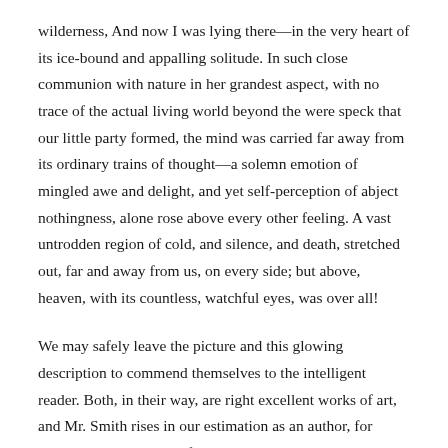wilderness, And now I was lying there—in the very heart of its ice-bound and appalling solitude. In such close communion with nature in her grandest aspect, with no trace of the actual living world beyond the were speck that our little party formed, the mind was carried far away from its ordinary trains of thought—a solemn emotion of mingled awe and delight, and yet self-perception of abject nothingness, alone rose above every other feeling. A vast untrodden region of cold, and silence, and death, stretched out, far and away from us, on every side; but above, heaven, with its countless, watchful eyes, was over all!
We may safely leave the picture and this glowing description to commend themselves to the intelligent reader. Both, in their way, are right excellent works of art, and Mr. Smith rises in our estimation as an author, for having delivered himself so nobly on a theme requiring and tasking the higher faculties for its due treatment. He has indeed written eloquently on the sublime.